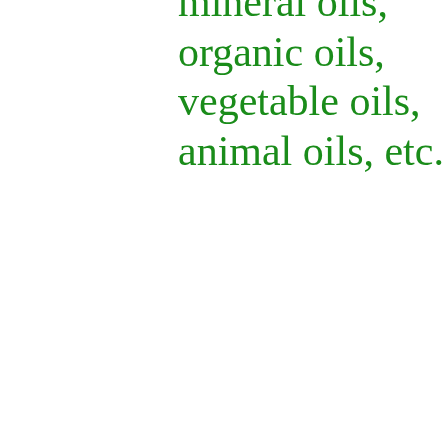mineral oils, organic oils, vegetable oils, animal oils, etc.
Further, in some embodiments, the carbanions may be derived from at least one